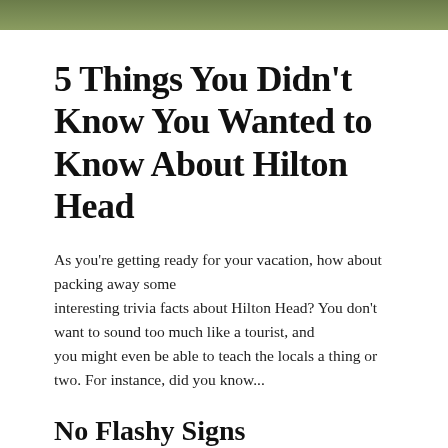[Figure (photo): Partial photo strip at top of page showing a natural outdoor scene, likely trees or vegetation with green tones.]
5 Things You Didn't Know You Wanted to Know About Hilton Head
As you're getting ready for your vacation, how about packing away some interesting trivia facts about Hilton Head? You don't want to sound too much like a tourist, and you might even be able to teach the locals a thing or two. For instance, did you know...
No Flashy Signs
Hilton Head has always trended toward the natural, with their appearance reflecting much of their environment. As a result, the only signs you will see there